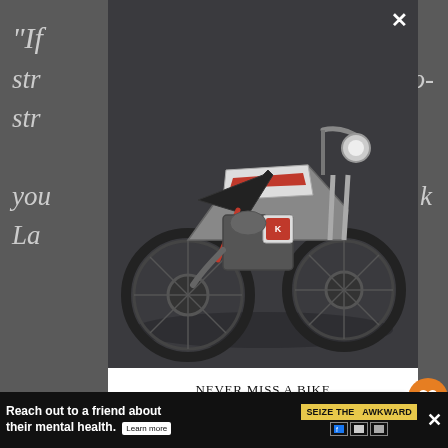“If ... str... two-str... you... k La...
[Figure (photo): Custom Kawasaki dirt bike / scrambler motorcycle with red and white colorway, set against a dark studio background]
NEVER MISS A BIKE
Subscribe to BikeBound™
Hot builds, exclusive discounts, no BS.
Enter your email here...
SUBSCRIBE
WHAT'S NEXT → Front Row Moto Show!
Reach out to a friend about their mental health. Learn more | SEIZE THE AWKWARD